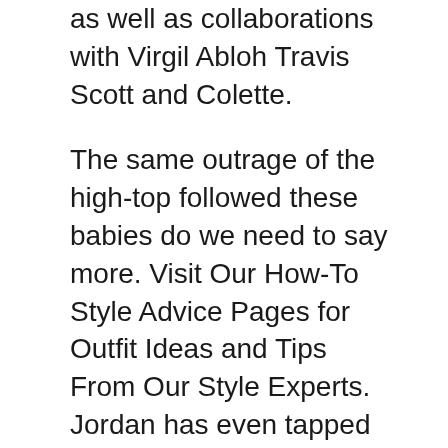as well as collaborations with Virgil Abloh Travis Scott and Colette.
The same outrage of the high-top followed these babies do we need to say more. Visit Our How-To Style Advice Pages for Outfit Ideas and Tips From Our Style Experts. Jordan has even tapped into entities outside of their brand and teamed up.
WhiteBlack-Light Smoke Grey-Varsity Red This Jordan 1 Smoke Grey appears to take after the Air Dior colorway. If they werent the first I might have put them below the shadows. Shop The FARFETCH Sale Today.
Now there are mani Jordan 1 Low colorways that connect to the rich history of the model